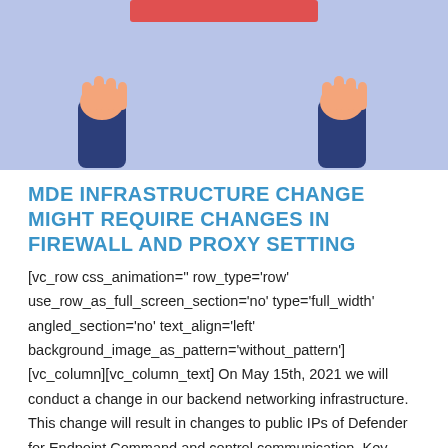[Figure (illustration): Illustration of two hands in dark blue sleeves holding up a red banner/sign against a light blue/periwinkle background.]
MDE INFRASTRUCTURE CHANGE MIGHT REQUIRE CHANGES IN FIREWALL AND PROXY SETTING
[vc_row css_animation='' row_type='row' use_row_as_full_screen_section='no' type='full_width' angled_section='no' text_align='left' background_image_as_pattern='without_pattern'] [vc_column][vc_column_text] On May 15th, 2021 we will conduct a change in our backend networking infrastructure. This change will result in changes to public IPs of Defender for Endpoint Command and control communication. Key Points Timing: May 15